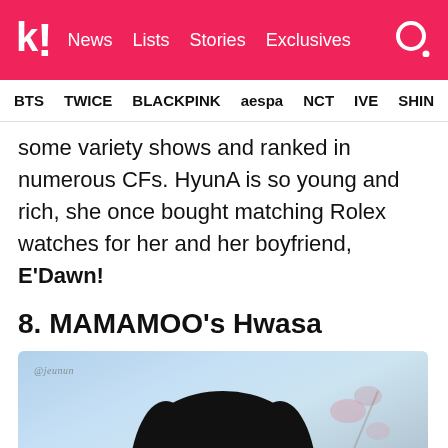k! News Lists Stories Exclusives
BTS TWICE BLACKPINK aespa NCT IVE SHIN
some variety shows and ranked in numerous CFs. HyunA is so young and rich, she once bought matching Rolex watches for her and her boyfriend, E'Dawn!
8. MAMAMOO's Hwasa
[Figure (photo): Photo of MAMAMOO's Hwasa, a Korean pop star, smiling at the camera with long black hair and dangling crystal/diamond earrings, against a light blue and floral background. Watermark text visible in upper left.]